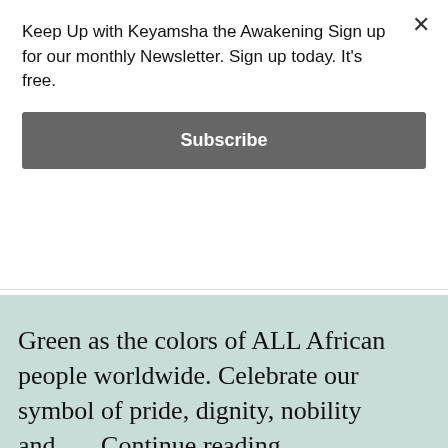Keep Up with Keyamsha the Awakening Sign up for our monthly Newsletter. Sign up today. It's free.
Subscribe
Green as the colors of ALL African people worldwide. Celebrate our symbol of pride, dignity, nobility and...... Continue reading
Keyamsha, The Awakening is happening because you shared this.
Tweet
Email